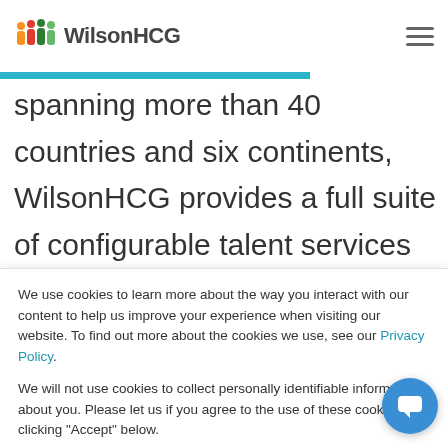WilsonHCG
most admired brands build comprehensive talent functions. With a global presence
spanning more than 40 countries and six continents, WilsonHCG provides a full suite of configurable talent services including recruitment process outsourcing (RPO),
We use cookies to learn more about the way you interact with our content to help us improve your experience when visiting our website. To find out more about the cookies we use, see our Privacy Policy.
We will not use cookies to collect personally identifiable information about you. Please let us if you agree to the use of these cookies by clicking "Accept" below.